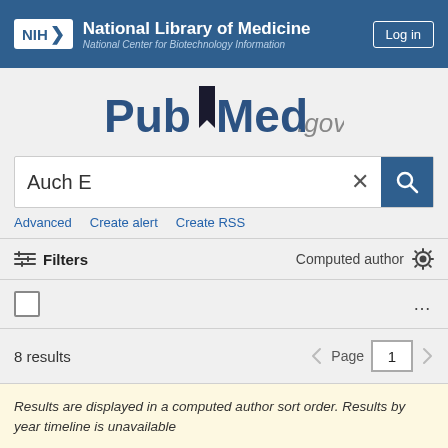NIH National Library of Medicine National Center for Biotechnology Information | Log in
[Figure (logo): PubMed.gov logo with bookmark icon]
Auch E
Advanced   Create alert   Create RSS
Filters   Computed author
8 results   Page 1
Results are displayed in a computed author sort order. Results by year timeline is unavailable